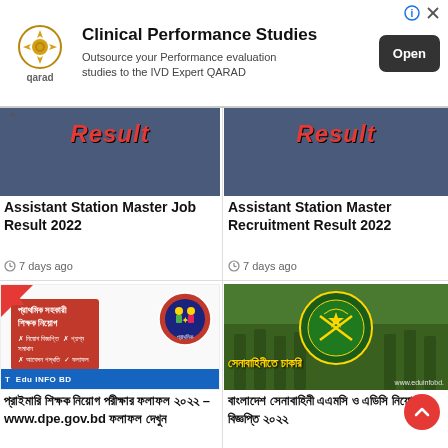[Figure (screenshot): Advertisement banner for QARAD Clinical Performance Studies with logo, text and Open button]
[Figure (screenshot): Assistant Station Master Job Result 2022 card image with red 'Result' text on dark blue background]
Assistant Station Master Job Result 2022
7 days ago
[Figure (screenshot): Assistant Station Master Recruitment Result 2022 card image with red 'Result' text on dark blue background]
Assistant Station Master Recruitment Result 2022
7 days ago
[Figure (screenshot): Primary school teacher recruitment image with Bengali text, red box, school badge and EduInfoBD branding]
প্রাইমারি শিক্ষক নিয়োগ পরীক্ষার ফলাফল ২০২২ – www.dpe.gov.bd ফলাফল দেখুন
7 days ago
[Figure (screenshot): Bangladesh Army soldiers marching with army emblem, Bengali text overlay and eduinfobd watermark]
বাংলাদেশ সেনাবাহিনী এএমসি ও এডিসি নিয়োগ বিজ্ঞপ্তি ২০২২
7 days ago